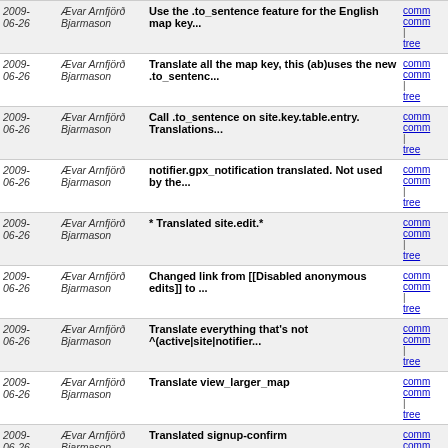| Date | Author | Message | Links |
| --- | --- | --- | --- |
| 2009-06-26 | Ævar Arnfjörð Bjarmason | Use the .to_sentence feature for the English map key... | comm
comm
| tree |
| 2009-06-26 | Ævar Arnfjörð Bjarmason | Translate all the map key, this (ab)uses the new .to_sentenc... | comm
comm
| tree |
| 2009-06-26 | Ævar Arnfjörð Bjarmason | Call .to_sentence on site.key.table.entry. Translations... | comm
comm
| tree |
| 2009-06-26 | Ævar Arnfjörð Bjarmason | notifier.gpx_notification translated. Not used by the... | comm
comm
| tree |
| 2009-06-26 | Ævar Arnfjörð Bjarmason | * Translated site.edit.* | comm
comm
| tree |
| 2009-06-26 | Ævar Arnfjörð Bjarmason | Changed link from [[Disabled anonymous edits]] to ... | comm
comm
| tree |
| 2009-06-26 | Ævar Arnfjörð Bjarmason | Translate everything that's not ^(active|site|notifier... | comm
comm
| tree |
| 2009-06-26 | Ævar Arnfjörð Bjarmason | Translate view_larger_map | comm
comm
| tree |
| 2009-06-26 | Ævar Arnfjörð Bjarmason | Translated signup-confirm | comm
comm
| tree |